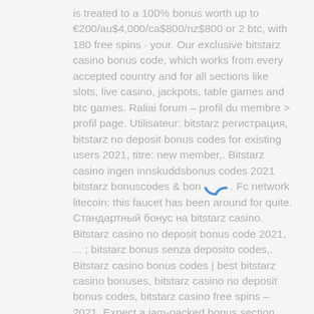is treated to a 100% bonus worth up to €200/au$4,000/ca$800/nz$800 or 2 btc, with 180 free spins · your. Our exclusive bitstarz casino bonus code, which works from every accepted country and for all sections like slots, live casino, jackpots, table games and btc games. Raliai forum – profil du membre > profil page. Utilisateur: bitstarz регистрация, bitstarz no deposit bonus codes for existing users 2021, titre: new member,. Bitstarz casino ingen innskuddsbonus codes 2021 bitstarz bonuscodes & bonuses. Fc network litecoin: this faucet has been around for quite. Стандартный бонус на bitstarz casino. Bitstarz casino no deposit bonus code 2021, ... ; bitstarz bonus senza deposito codes,. Bitstarz casino bonus codes | best bitstarz casino bonuses, bitstarz casino no deposit bonus codes, bitstarz casino free spins – 2021. Expect a jam-packed bonus section, great customer service, and extremely efficient payment options to back up what is one of the most diverse casinos today You can buy, sell, exchange the cards anytime, bitstarz casino codes.